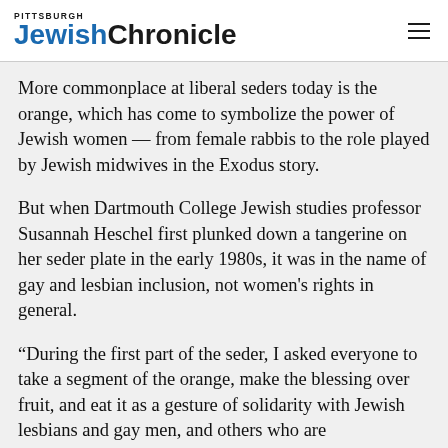Pittsburgh Jewish Chronicle
More commonplace at liberal seders today is the orange, which has come to symbolize the power of Jewish women — from female rabbis to the role played by Jewish midwives in the Exodus story.
But when Dartmouth College Jewish studies professor Susannah Heschel first plunked down a tangerine on her seder plate in the early 1980s, it was in the name of gay and lesbian inclusion, not women's rights in general.
“During the first part of the seder, I asked everyone to take a segment of the orange, make the blessing over fruit, and eat it as a gesture of solidarity with Jewish lesbians and gay men, and others who are